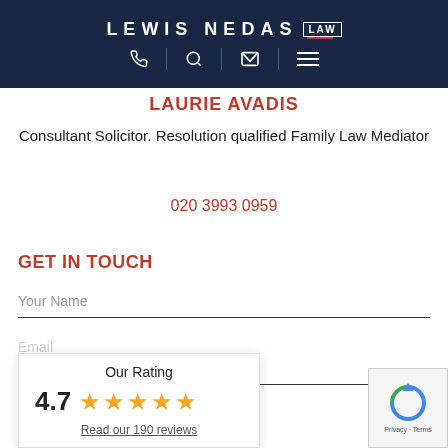[Figure (screenshot): Lewis Nedas Law navigation bar with logo, phone, search, email, and hamburger menu icons on dark navy background]
LAURIE AVADIS
Consultant Solicitor. Resolution qualified Family Law Mediator
020 3993 0959
GET IN TOUCH
Your Name
[Figure (infographic): Rating widget showing 4.7 stars out of 5 with 5 gold stars and 'Read our 190 reviews' link. Our Rating label at top.]
[Figure (other): Google reCAPTCHA widget with circular arrow logo and Privacy/Terms text]